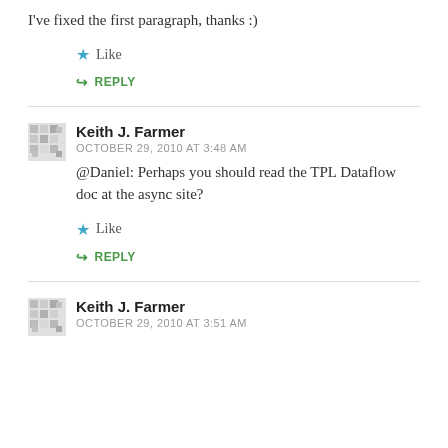I've fixed the first paragraph, thanks :)
★ Like
↳ REPLY
Keith J. Farmer
OCTOBER 29, 2010 AT 3:48 AM
@Daniel: Perhaps you should read the TPL Dataflow doc at the async site?
★ Like
↳ REPLY
Keith J. Farmer
OCTOBER 29, 2010 AT 3:51 AM